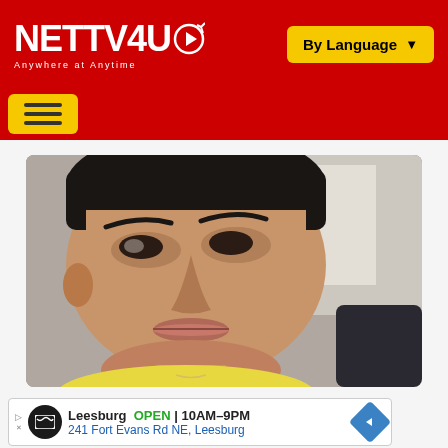[Figure (logo): NETTV4U logo with red background and 'Anywhere at Anytime' tagline, and 'By Language' dropdown button]
[Figure (screenshot): Hamburger menu button on red background navigation bar]
[Figure (photo): Close-up photo of a South Asian male actor looking sideways, wearing yellow shirt, with blurred background]
[Figure (infographic): Advertisement banner: Leesburg OPEN 10AM-9PM, 241 Fort Evans Rd NE, Leesburg]